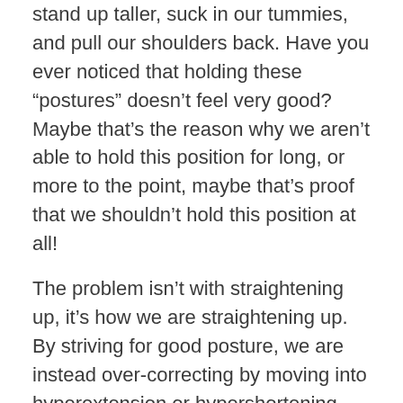stand up taller, suck in our tummies, and pull our shoulders back. Have you ever noticed that holding these “postures” doesn’t feel very good? Maybe that’s the reason why we aren’t able to hold this position for long, or more to the point, maybe that’s proof that we shouldn’t hold this position at all!
The problem isn’t with straightening up, it’s how we are straightening up. By striving for good posture, we are instead over-correcting by moving into hyperextension or hypershortening through the postural muscles. We’ll first examine what is happening when we try to “correct” our posture and then I’ll give you five exercises to enhance proper posture without pain
When we attempt to stand up taller, we often lift our front chest. This is a common and